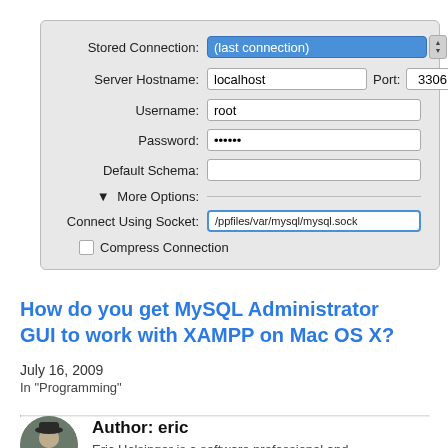[Figure (screenshot): MySQL Administrator GUI connection dialog showing fields: Stored Connection (last connection), Server Hostname (localhost), Port (3306), Username (root), Password (••••••), Default Schema, More Options section with Connect Using Socket field showing /ppfiles/var/mysql/mysql.sock and a Compress Connection checkbox.]
How do you get MySQL Administrator GUI to work with XAMPP on Mac OS X?
July 16, 2009
In "Programming"
Author: eric
Eric Holsinger is a software professional and